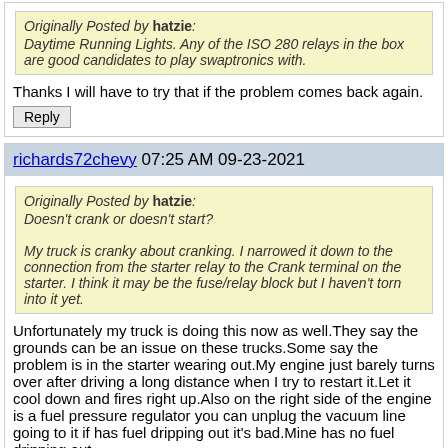Originally Posted by hatzie: Daytime Running Lights. Any of the ISO 280 relays in the box are good candidates to play swaptronics with.
Thanks I will have to try that if the problem comes back again.
Reply
richards72chevy 07:25 AM 09-23-2021
Originally Posted by hatzie: Doesn't crank or doesn't start? My truck is cranky about cranking. I narrowed it down to the connection from the starter relay to the Crank terminal on the starter. I think it may be the fuse/relay block but I haven't torn into it yet.
Unfortunately my truck is doing this now as well.They say the grounds can be an issue on these trucks.Some say the problem is in the starter wearing out.My engine just barely turns over after driving a long distance when I try to restart it.Let it cool down and fires right up.Also on the right side of the engine is a fuel pressure regulator you can unplug the vacuum line going to it if has fuel dripping out it's bad.Mine has no fuel dripping out.
Reply
hatzie 05:12 PM 09-23-2021
Originally Posted by richards72chevy: Unfortunately my truck is doing this now as well.They say the grounds can be an issue on these trucks.Some say the problem is in the starter wearing out.My engine just barely turns over after driving a long distance when I try to restart